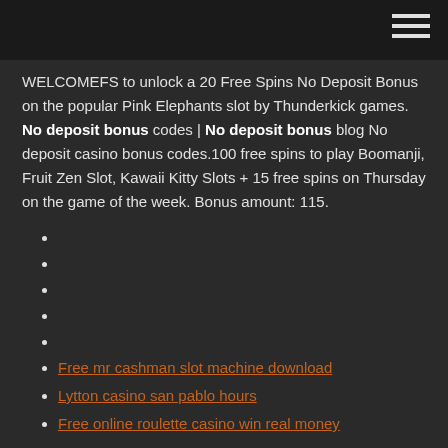WELCOMEFS to unlock a 20 Free Spins No Deposit Bonus on the popular Pink Elephants slot by Thunderkick games. No deposit bonus codes | No deposit bonus blog No deposit casino bonus codes.100 free spins to play Boomanji, Fruit Zen Slot, Kawaii Kitty Slots + 15 free spins on Thursday on the game of the week. Bonus amount: 115.
Free mr cashman slot machine download
Lytton casino san pablo hours
Free online roulette casino win real money